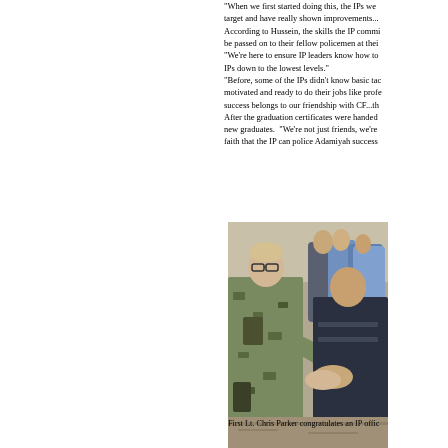"When we first started doing this, the IPs were off target and have really shown improvements... According to Hussein, the skills the IP commanders be passed on to their fellow policemen at their "We're here to ensure IP leaders know how to IPs down to the lowest levels." "Before, some of the IPs didn't know basic tac motivated and ready to do their jobs like profe success belongs to our friendship with CF...th After the graduation certificates were handed new graduates. "We're not just friends, we're faith that the IP can police Adamiyah success
[Figure (photo): First Lt. Chris Parker in military fatigues shaking hands with an Iraqi Police officer in dark uniform, with several other people in the background.]
First Lt. Chris Parker congratulates an IP offic